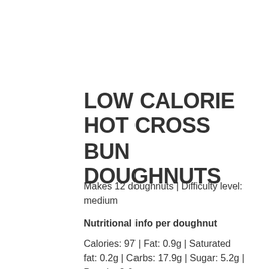LOW CALORIE HOT CROSS BUN DOUGHNUTS
Makes 12 doughnuts | Difficulty level: medium
Nutritional info per doughnut
Calories: 97 | Fat: 0.9g | Saturated fat: 0.2g | Carbs: 17.9g | Sugar: 5.2g | Protein: 3.6g